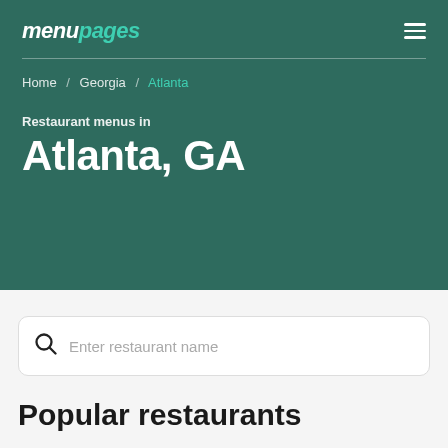menupages
Home / Georgia / Atlanta
Restaurant menus in
Atlanta, GA
Enter restaurant name
Popular restaurants